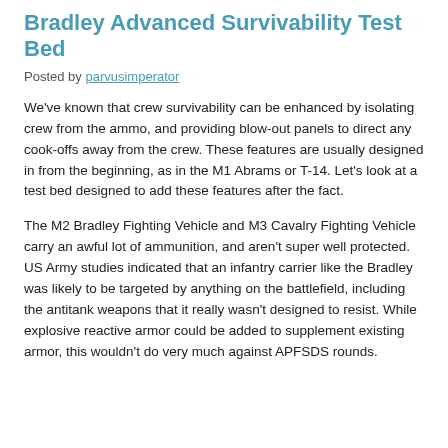Bradley Advanced Survivability Test Bed
Posted by parvusimperator
We've known that crew survivability can be enhanced by isolating crew from the ammo, and providing blow-out panels to direct any cook-offs away from the crew. These features are usually designed in from the beginning, as in the M1 Abrams or T-14. Let's look at a test bed designed to add these features after the fact.
The M2 Bradley Fighting Vehicle and M3 Cavalry Fighting Vehicle carry an awful lot of ammunition, and aren't super well protected. US Army studies indicated that an infantry carrier like the Bradley was likely to be targeted by anything on the battlefield, including the antitank weapons that it really wasn't designed to resist. While explosive reactive armor could be added to supplement existing armor, this wouldn't do very much against APFSDS rounds.